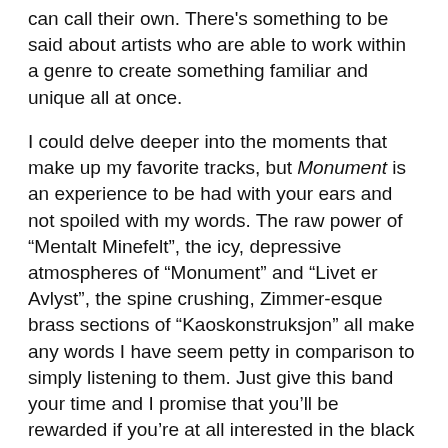can call their own. There’s something to be said about artists who are able to work within a genre to create something familiar and unique all at once.
I could delve deeper into the moments that make up my favorite tracks, but Monument is an experience to be had with your ears and not spoiled with my words. The raw power of “Mentalt Minefelt”, the icy, depressive atmospheres of “Monument” and “Livet er Avlyst”, the spine crushing, Zimmer-esque brass sections of “Kaoskonstruksjon” all make any words I have seem petty in comparison to simply listening to them. Just give this band your time and I promise that you’ll be rewarded if you’re at all interested in the black metal genre.